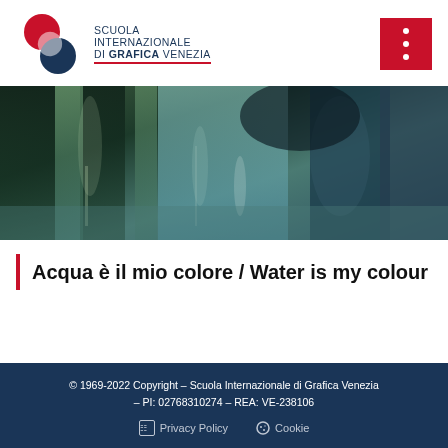[Figure (logo): Scuola Internazionale di Grafica Venezia logo with two overlapping circular shapes in red and dark blue, and text SCUOLA INTERNAZIONALE DI GRAFICA VENEZIA with red underline]
[Figure (photo): Abstract painting with dark green, teal, and blue tones resembling water or wet surfaces, horizontal banner image]
Acqua è il mio colore / Water is my colour
© 1969-2022 Copyright – Scuola Internazionale di Grafica Venezia – PI: 02768310274 – REA: VE-238106
Privacy Policy   Cookie